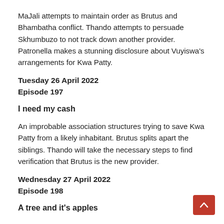MaJali attempts to maintain order as Brutus and Bhambatha conflict. Thando attempts to persuade Skhumbuzo to not track down another provider. Patronella makes a stunning disclosure about Vuyiswa's arrangements for Kwa Patty.
Tuesday 26 April 2022
Episode 197
I need my cash
An improbable association structures trying to save Kwa Patty from a likely inhabitant. Brutus splits apart the siblings. Thando will take the necessary steps to find verification that Brutus is the new provider.
Wednesday 27 April 2022
Episode 198
A tree and it's apples